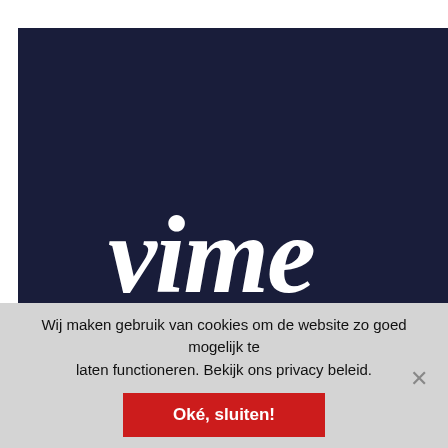[Figure (screenshot): Dark navy blue panel showing a partially cropped Vimeo logo (italic bold 'vim' text) overlaid with 'Verify to c' heading text, and body text beginning 'We detected a high nu... from your connection. ... please confirm that yo... human (and not a spa...']
Wij maken gebruik van cookies om de website zo goed mogelijk te laten functioneren. Bekijk ons privacy beleid.
Oké, sluiten!